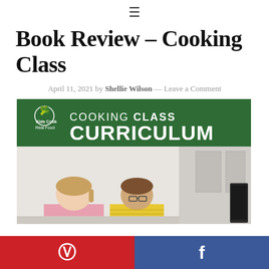≡
Book Review – Cooking Class
April 11, 2021 by Shellie Wilson — Leave a Comment
[Figure (photo): Cover of Kids Cook Real Food Cooking Class Curriculum book, showing two children cooking in a kitchen with green header banner and white text]
[Figure (infographic): Social sharing bar with Pinterest (red, left) and Facebook (blue, right) buttons at the bottom of the page]